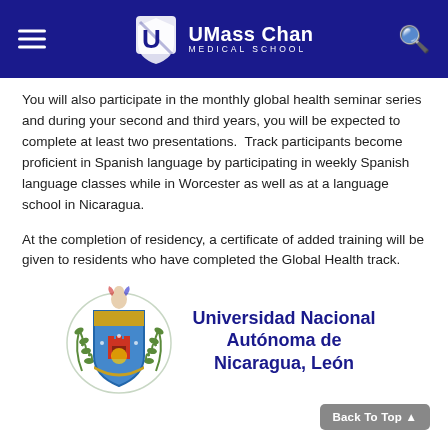UMass Chan Medical School
You will also participate in the monthly global health seminar series and during your second and third years, you will be expected to complete at least two presentations.  Track participants become proficient in Spanish language by participating in weekly Spanish language classes while in Worcester as well as at a language school in Nicaragua.
At the completion of residency, a certificate of added training will be given to residents who have completed the Global Health track.
[Figure (logo): Universidad Nacional Autónoma de Nicaragua, León crest logo with shield and olive branches]
Back To Top ▲